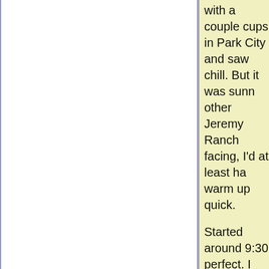with a couple cups in Park City and saw chill. But it was sunny other Jeremy Ranch facing, I'd at least ha warm up quick.
Started around 9:30 perfect. I could tell m melted the trail that back. And treachero worry about that on Dog trail onto the Je
Here I noticed that I thing kept track of m concerned even tho Doesn't mean I wan disappeared when I
I had to turn around snow got too deep. except I found a gre long that I did 4 time way down it was su Brooks Cascadia's r feet were gunked up falling.